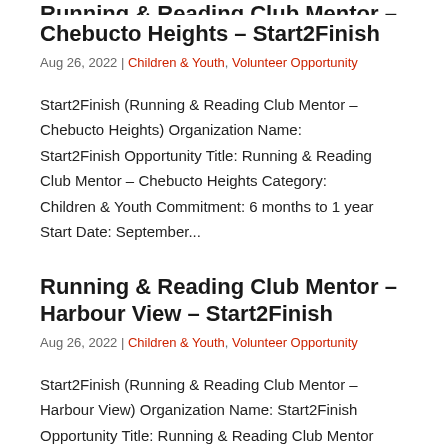Running & Reading Club Mentor – Chebucto Heights – Start2Finish
Aug 26, 2022 | Children & Youth, Volunteer Opportunity
Start2Finish (Running & Reading Club Mentor – Chebucto Heights) Organization Name: Start2Finish Opportunity Title: Running & Reading Club Mentor – Chebucto Heights Category: Children & Youth Commitment: 6 months to 1 year Start Date: September...
Running & Reading Club Mentor – Harbour View – Start2Finish
Aug 26, 2022 | Children & Youth, Volunteer Opportunity
Start2Finish (Running & Reading Club Mentor – Harbour View) Organization Name: Start2Finish Opportunity Title: Running & Reading Club Mentor